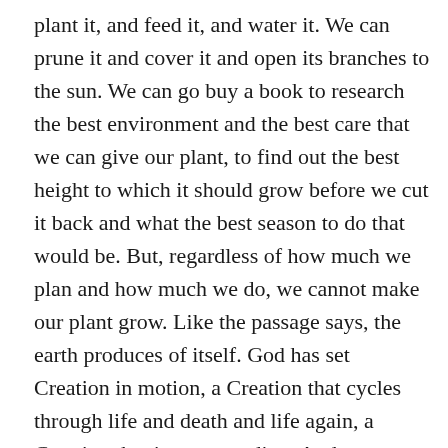plant it, and feed it, and water it. We can prune it and cover it and open its branches to the sun. We can go buy a book to research the best environment and the best care that we can give our plant, to find out the best height to which it should grow before we cut it back and what the best season to do that would be. But, regardless of how much we plan and how much we do, we cannot make our plant grow. Like the passage says, the earth produces of itself. God has set Creation in motion, a Creation that cycles through life and death and life again, a Creation that is never-ending. And even though we are called to be good stewards, to, literally, take dominion over it, to do things to help it along, the harvest will come when the harvest will come. We are not called to plan its completion but rather we are invited to participate in its Creation, to be a part of bringing in the fullness of the Kingdom of God.